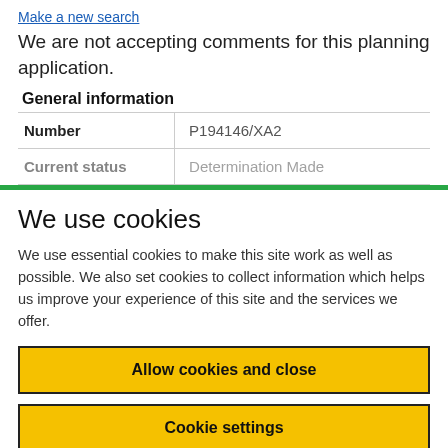Make a new search
We are not accepting comments for this planning application.
General information
|  |  |
| --- | --- |
| Number | P194146/XA2 |
| Current status | Determination Made |
We use cookies
We use essential cookies to make this site work as well as possible. We also set cookies to collect information which helps us improve your experience of this site and the services we offer.
Allow cookies and close
Cookie settings